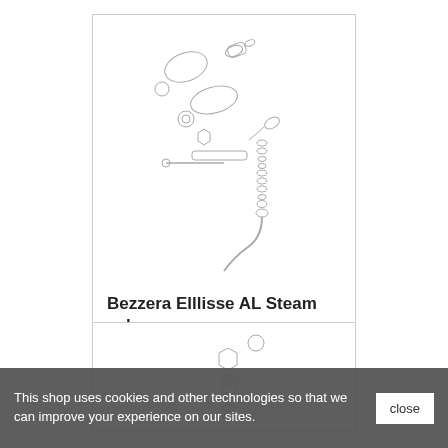[Figure (schematic): Exploded view schematic of a Bezzera Elllisse AL Steam valve, showing various small cylindrical, spherical, and tubular components with a curved tube/wand at the bottom, in light gray line drawing style.]
Bezzera Elllisse AL Steam valve
[Figure (schematic): Partial exploded view schematic of another component set, partially visible at the bottom of the page, cut off by the cookie banner.]
This shop uses cookies and other technologies so that we can improve your experience on our sites.